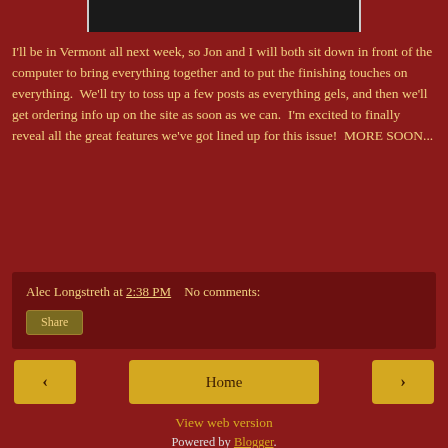[Figure (photo): Partial image strip at top of page, showing bottom edge of a photograph with dark tones]
I'll be in Vermont all next week, so Jon and I will both sit down in front of the computer to bring everything together and to put the finishing touches on everything.  We'll try to toss up a few posts as everything gels, and then we'll get ordering info up on the site as soon as we can.  I'm excited to finally reveal all the great features we've got lined up for this issue!  MORE SOON...
Alec Longstreth at 2:38 PM   No comments:
Share
‹
Home
›
View web version
Powered by Blogger.